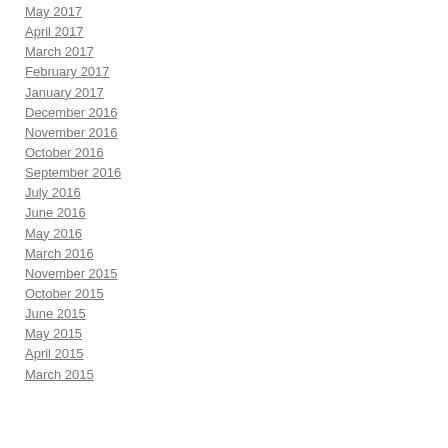May 2017
April 2017
March 2017
February 2017
January 2017
December 2016
November 2016
October 2016
September 2016
July 2016
June 2016
May 2016
March 2016
November 2015
October 2015
June 2015
May 2015
April 2015
March 2015